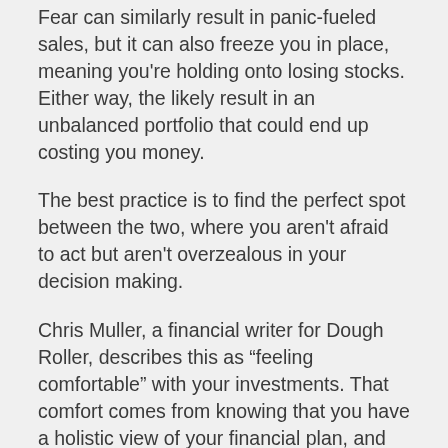Fear can similarly result in panic-fueled sales, but it can also freeze you in place, meaning you're holding onto losing stocks. Either way, the likely result in an unbalanced portfolio that could end up costing you money.
The best practice is to find the perfect spot between the two, where you aren't afraid to act but aren't overzealous in your decision making.
Chris Muller, a financial writer for Dough Roller, describes this as “feeling comfortable” with your investments. That comfort comes from knowing that you have a holistic view of your financial plan, and aren’t making snap decisions.
The way you manage your finances is entirely up to you, but when you're looking at investment opportunities, it's best to forego emotions. For expert advice on the best way to manage your portfolio,